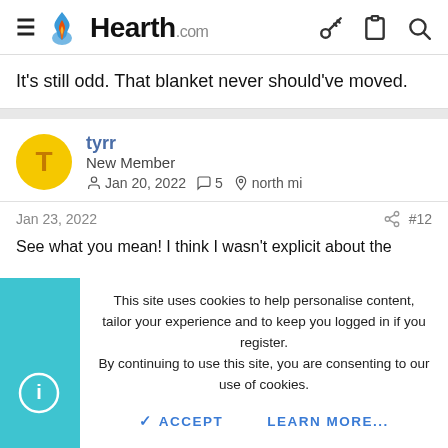Hearth.com
It's still odd. That blanket never should've moved.
tyrr
New Member
Jan 20, 2022   5   north mi
Jan 23, 2022   #12
See what you mean! I think I wasn't explicit about the
This site uses cookies to help personalise content, tailor your experience and to keep you logged in if you register.
By continuing to use this site, you are consenting to our use of cookies.

ACCEPT   LEARN MORE...